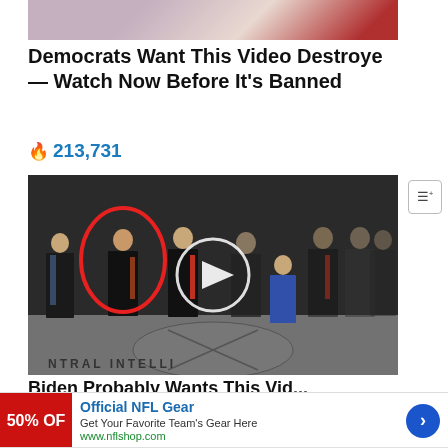[Figure (photo): Partial photo showing a person with long hair, and a red tie visible at the edge, cropped at top]
Democrats Want This Video Destroyed — Watch Now Before It's Banned
🔥 213,731
[Figure (photo): Group photo of people standing in the CIA headquarters lobby with the CIA seal on the floor. One person on the left is highlighted with a red circle. A video play button overlay is in the center.]
Biden Probably Wants This Vid...
[Figure (other): Advertisement banner: Official NFL Gear - Get Your Favorite Team's Gear Here - www.nflshop.com - 50% OFF shown on red image background with a blue arrow button]